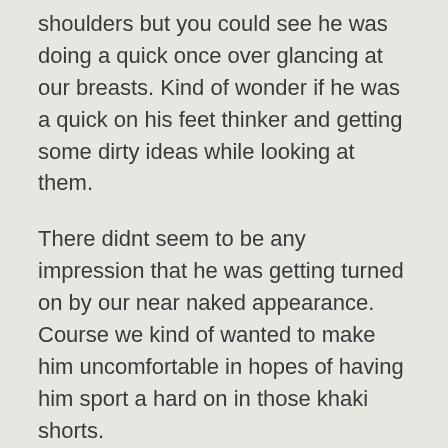shoulders but you could see he was doing a quick once over glancing at our breasts. Kind of wonder if he was a quick on his feet thinker and getting some dirty ideas while looking at them.
There didnt seem to be any impression that he was getting turned on by our near naked appearance. Course we kind of wanted to make him uncomfortable in hopes of having him sport a hard on in those khaki shorts.
Soooo my question for you is what would you do if you stumbled up one a few naked woodland nymphs in the forest?
What naughty things would run across your mind?
I am all ears and well other things too. You can reach me by calling the number below. Just ask for Kassidy